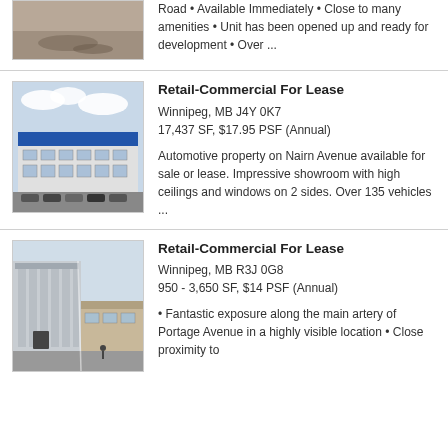Road • Available Immediately • Close to many amenities • Unit has been opened up and ready for development • Over ...
Retail-Commercial For Lease
Winnipeg, MB J4Y 0K7
17,437 SF, $17.95 PSF (Annual)
Automotive property on Nairn Avenue available for sale or lease. Impressive showroom with high ceilings and windows on 2 sides. Over 135 vehicles ...
Retail-Commercial For Lease
Winnipeg, MB R3J 0G8
950 - 3,650 SF, $14 PSF (Annual)
• Fantastic exposure along the main artery of Portage Avenue in a highly visible location • Close proximity to